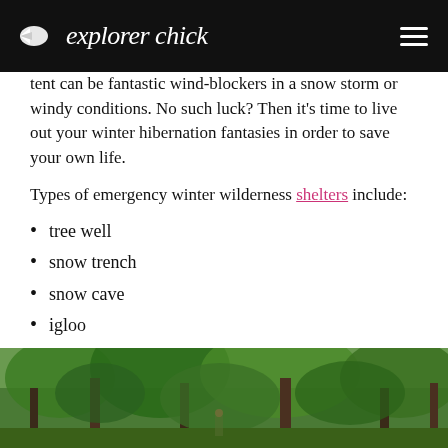explorer chick
tent can be fantastic wind-blockers in a snow storm or windy conditions. No such luck? Then it's time to live out your winter hibernation fantasies in order to save your own life.
Types of emergency winter wilderness shelters include:
tree well
snow trench
snow cave
igloo
quinzhee
If you're fortunate enough to find your backyard full of packable snow cover prior to your trip, sweet! You can play around in the snow (er, practice your winter survival skills) until you get the hang of it.
[Figure (photo): Person hiking in a lush green forest with tall trees]